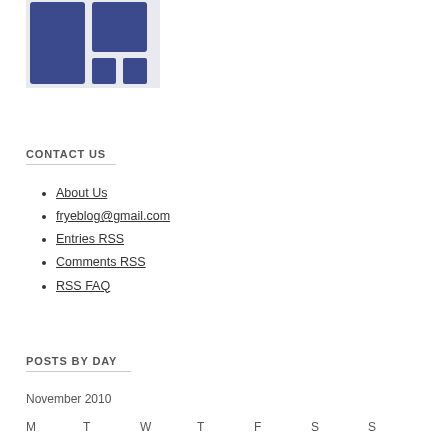[Figure (logo): Blue logo/icon with two rectangular shapes on white background]
CONTACT US
About Us
fryeblog@gmail.com
Entries RSS
Comments RSS
RSS FAQ
POSTS BY DAY
November 2010
M  T  W  T  F  S  S